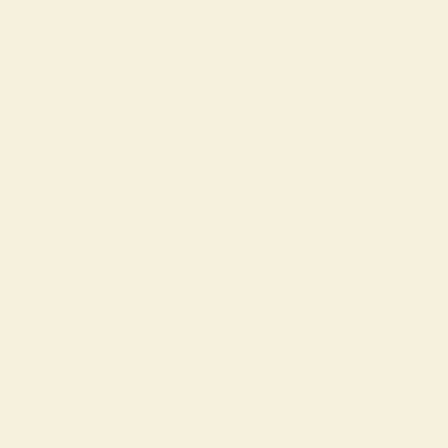By fits the sun's d...
Look'd on the fad...
That wav'd o'er L...
Beneath a craigy s...
Laden with years ...
In loud lament bew...
Whom Death had ...

He lean'd him to a...
Whose trunk was ...
His locks were ble...
His hoary cheek w...
And as he touch'd...
And as he tun'd hi...
The winds, lament...
To Echo bore the r...

"Ye scatter'd bird...
The reliques o' the...
Ye woods that shee...
The honours of th...
A few short month...
Again ye'll charm...
But nocht in all-re...
Can gladness brin...

"I am a bending a...
That long has stoo...